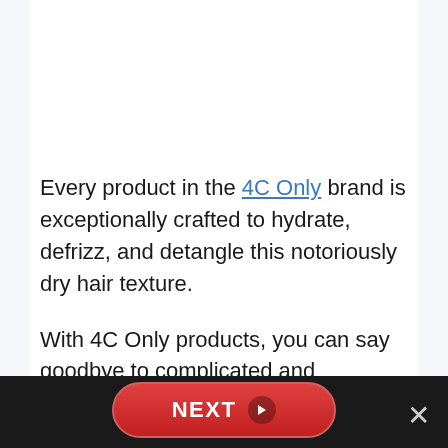Every product in the 4C Only brand is exceptionally crafted to hydrate, defrizz, and detangle this notoriously dry hair texture.
With 4C Only products, you can say goodbye to complicated and intensive wash da...
[Figure (other): Dark footer bar with a red NEXT button (pill-shaped with arrow) centered, a close X button on the right, and a small logo watermark]